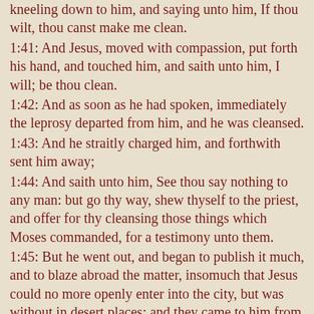kneeling down to him, and saying unto him, If thou wilt, thou canst make me clean. 1:41: And Jesus, moved with compassion, put forth his hand, and touched him, and saith unto him, I will; be thou clean. 1:42: And as soon as he had spoken, immediately the leprosy departed from him, and he was cleansed. 1:43: And he straitly charged him, and forthwith sent him away; 1:44: And saith unto him, See thou say nothing to any man: but go thy way, shew thyself to the priest, and offer for thy cleansing those things which Moses commanded, for a testimony unto them. 1:45: But he went out, and began to publish it much, and to blaze abroad the matter, insomuch that Jesus could no more openly enter into the city, but was without in desert places: and they came to him from every quarter. 2:1: And again he entered into Capernaum after some days; and it was noised that he was in the house. 2:2: And straightway many were gathered together, insomuch that there was no room to receive them, no, not so much as about the door: and he preached the word unto